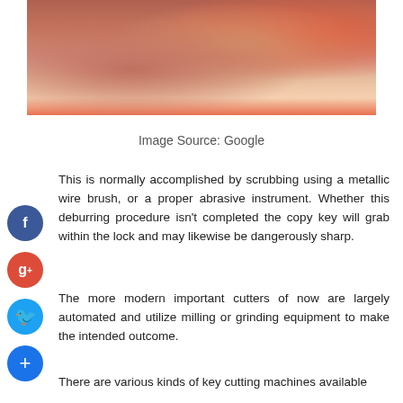[Figure (photo): Close-up photo of hands holding a key or metallic object with a red tool/machine]
Image Source: Google
This is normally accomplished by scrubbing using a metallic wire brush, or a proper abrasive instrument. Whether this deburring procedure isn't completed the copy key will grab within the lock and may likewise be dangerously sharp.
The more modern important cutters of now are largely automated and utilize milling or grinding equipment to make the intended outcome.
There are various kinds of key cutting machines available